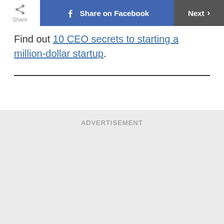Share | Share on Facebook | Next
Find out 10 CEO secrets to starting a million-dollar startup.
ADVERTISEMENT